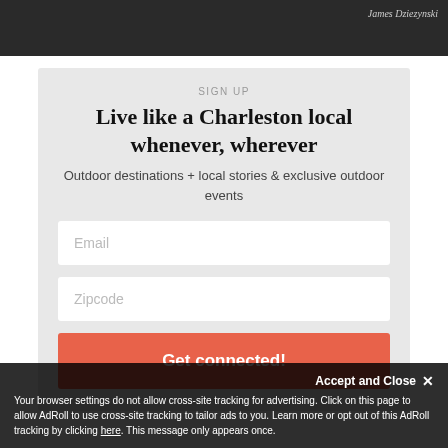[Figure (photo): Dark background photo strip at top with photographer credit 'James Dziezynski' in the upper right corner]
SIGN UP
Live like a Charleston local whenever, wherever
Outdoor destinations + local stories & exclusive outdoor events
Email
Zipcode
Get connected!
Accept and Close ✕
Your browser settings do not allow cross-site tracking for advertising. Click on this page to allow AdRoll to use cross-site tracking to tailor ads to you. Learn more or opt out of this AdRoll tracking by clicking here. This message only appears once.